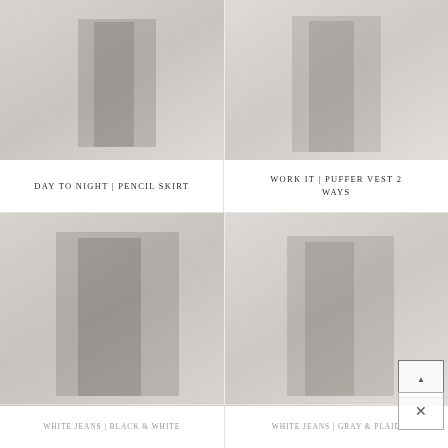[Figure (photo): Fashion photo top-left: person in dark outfit, pencil skirt style]
[Figure (photo): Fashion photo top-right: person in puffer vest, styled two ways]
DAY TO NIGHT | PENCIL SKIRT
WORK IT | PUFFER VEST 2 WAYS
[Figure (photo): Fashion photo bottom-left: white jeans black and white outfit]
[Figure (photo): Fashion photo bottom-right: white jeans gray and plaid outfit]
WHITE JEANS | BLACK & WHITE
WHITE JEANS | GRAY & PLAID